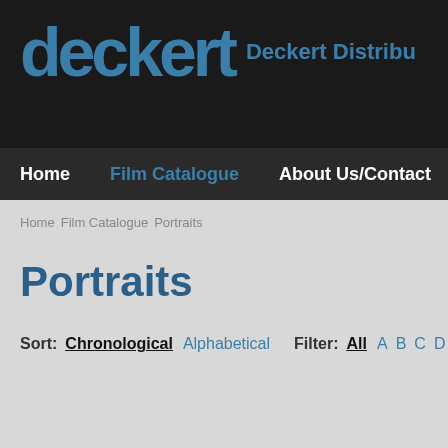deckert Deckert Distribu
Home  Film Catalogue  About Us/Contact
Home  Film Catalogue  Portraits
Portraits
Sort: Chronological  Alphabetical  Filter:  All  A  B  C  D  E  F  G  H